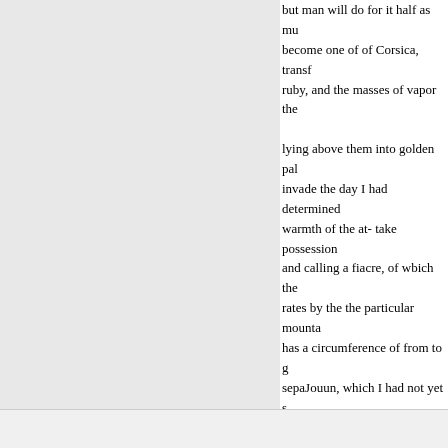but man will do for it half as mu... become one of of Corsica, transf... ruby, and the masses of vapor the... lying above them into golden pal... invade the day I had determined ... warmth of the at- take possession... and calling a fiacre, of wbich the... rates by the the particular mounta... has a circumference of from to g... sepaJouun, which I had not yet s... of the town, we and west by a va... side of the Cap de la mentioned, ... came upon the high bold shore w... ing to the southeast, runs out into... foot of the cut into the side of the... for the distance of ular concave b... Napaule as well as the Gulf of Jo... beforeOn the one sile were the cl... Mediterranean, with a dis- adjace... being shut in on the northwest by...
« Indietro